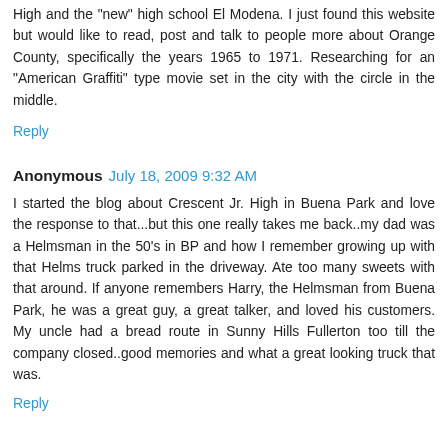High and the "new" high school El Modena. I just found this website but would like to read, post and talk to people more about Orange County, specifically the years 1965 to 1971. Researching for an "American Graffiti" type movie set in the city with the circle in the middle.
Reply
Anonymous  July 18, 2009 9:32 AM
I started the blog about Crescent Jr. High in Buena Park and love the response to that...but this one really takes me back..my dad was a Helmsman in the 50's in BP and how I remember growing up with that Helms truck parked in the driveway. Ate too many sweets with that around. If anyone remembers Harry, the Helmsman from Buena Park, he was a great guy, a great talker, and loved his customers. My uncle had a bread route in Sunny Hills Fullerton too till the company closed..good memories and what a great looking truck that was.
Reply